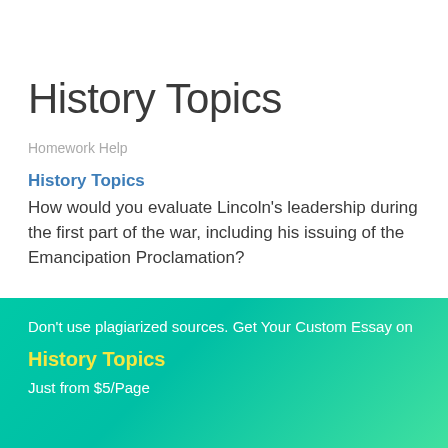History Topics
Homework Help
History Topics
How would you evaluate Lincoln's leadership during the first part of the war, including his issuing of the Emancipation Proclamation?
Don't use plagiarized sources. Get Your Custom Essay on
History Topics
Just from $5/Page